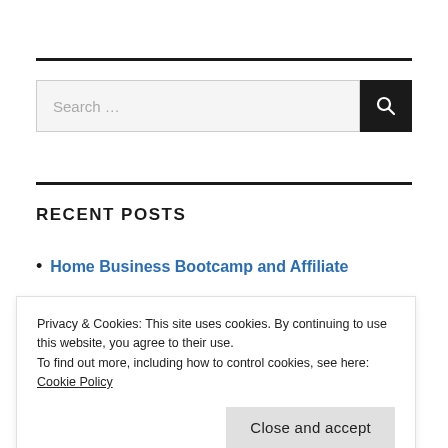[Figure (other): Search bar with text input field and black search button with magnifying glass icon]
RECENT POSTS
Home Business Bootcamp and Affiliate
Privacy & Cookies: This site uses cookies. By continuing to use this website, you agree to their use.
To find out more, including how to control cookies, see here:
Cookie Policy
Close and accept
Business and uses of Jobs or LIVE training